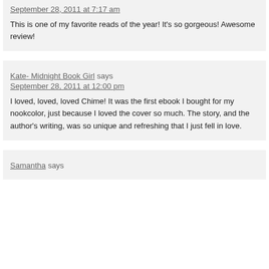September 28, 2011 at 7:17 am
This is one of my favorite reads of the year! It's so gorgeous! Awesome review!
Kate- Midnight Book Girl says
September 28, 2011 at 12:00 pm
I loved, loved, loved Chime! It was the first ebook I bought for my nookcolor, just because I loved the cover so much. The story, and the author's writing, was so unique and refreshing that I just fell in love.
Samantha says